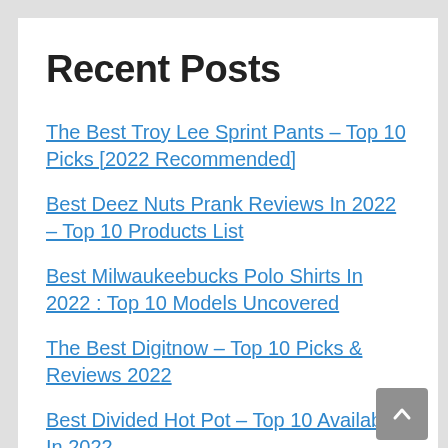Recent Posts
The Best Troy Lee Sprint Pants – Top 10 Picks [2022 Recommended]
Best Deez Nuts Prank Reviews In 2022 – Top 10 Products List
Best Milwaukeebucks Polo Shirts In 2022 : Top 10 Models Uncovered
The Best Digitnow – Top 10 Picks & Reviews 2022
Best Divided Hot Pot – Top 10 Available In 2022